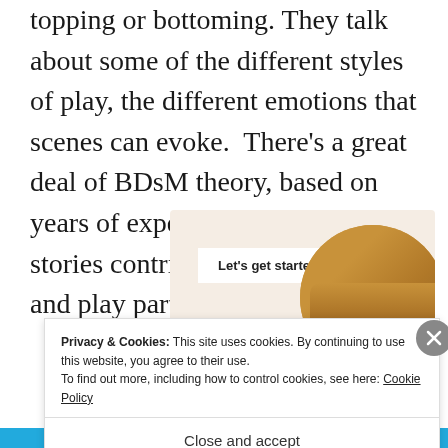topping or bottoming. They talk about some of the different styles of play, the different emotions that scenes can evoke.  There's a great deal of BDsM theory, based on years of experience as well as stories contributed from friends and play partners of the authors.
[Figure (illustration): Advertisement banner with beige background, 'Let's get started' button on the left and a circular cropped photo of a person's hands on the right.]
Privacy & Cookies: This site uses cookies. By continuing to use this website, you agree to their use.
To find out more, including how to control cookies, see here: Cookie Policy
Close and accept